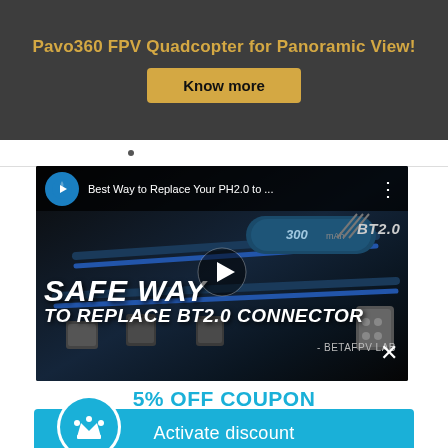Pavo360 FPV Quadcopter for Panoramic View!
Know more
[Figure (screenshot): YouTube video thumbnail showing 'Best Way to Replace Your PH2.0 to...' with large bold text overlay reading 'SAFE WAY TO REPLACE BT2.0 CONNECTOR - BETAFPV LAB' and a play button in the center. A BT2.0 logo appears top right.]
5% OFF COUPON
Activate discount